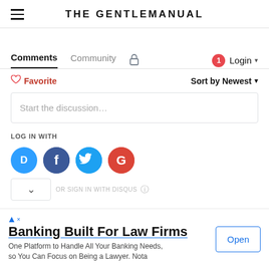THE GENTLEMANUAL
Comments   Community   Login
Favorite   Sort by Newest
Start the discussion…
LOG IN WITH
[Figure (screenshot): Social login icons: Disqus (D, blue), Facebook (f, dark blue), Twitter (bird, light blue), Google (G, red)]
Banking Built For Law Firms
One Platform to Handle All Your Banking Needs, so You Can Focus on Being a Lawyer. Nota